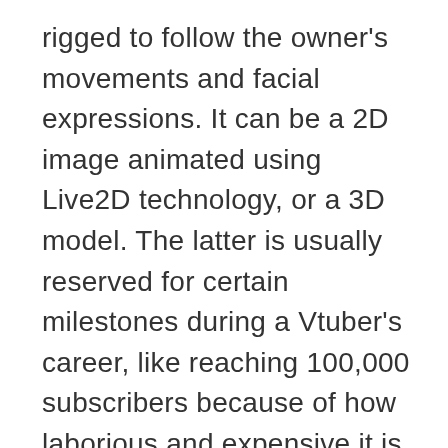rigged to follow the owner's movements and facial expressions. It can be a 2D image animated using Live2D technology, or a 3D model. The latter is usually reserved for certain milestones during a Vtuber's career, like reaching 100,000 subscribers because of how laborious and expensive it is to make.